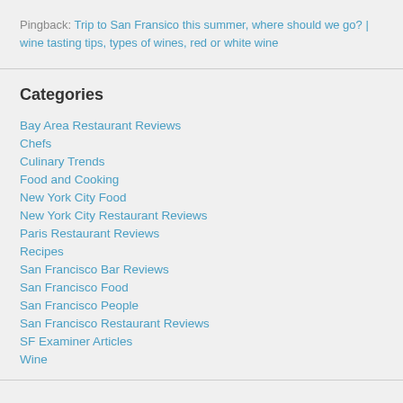Pingback: Trip to San Fransico this summer, where should we go? | wine tasting tips, types of wines, red or white wine
Categories
Bay Area Restaurant Reviews
Chefs
Culinary Trends
Food and Cooking
New York City Food
New York City Restaurant Reviews
Paris Restaurant Reviews
Recipes
San Francisco Bar Reviews
San Francisco Food
San Francisco People
San Francisco Restaurant Reviews
SF Examiner Articles
Wine